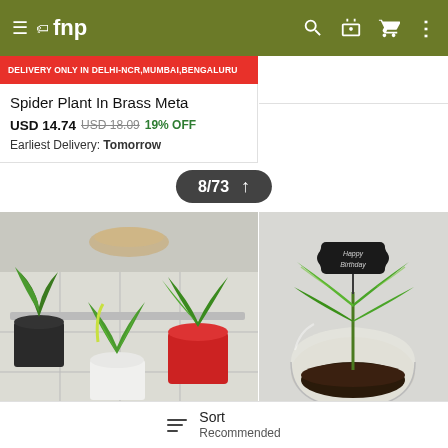fnp — navigation bar with menu, search, gift, cart icons
DELIVERY ONLY IN DELHI-NCR,MUMBAI,BENGALURU
Spider Plant In Brass Meta
USD 14.74 USD 18.09 19% OFF
Earliest Delivery: Tomorrow
Classic Syngonium Plant
USD 4.68 USD 5.35 13% OFF
Earliest Delivery: Tomorrow
4.9 ★ 34 Reviews
[Figure (photo): Three potted plants (Money Plant / Pothos varieties) in black, red, and white pots arranged on a white tiled shelf]
[Figure (photo): A green plant (money plant / syngonium) in a round glass terrarium bowl with soil and a Happy Birthday label pick]
8/73 ↑
Sort  Recommended